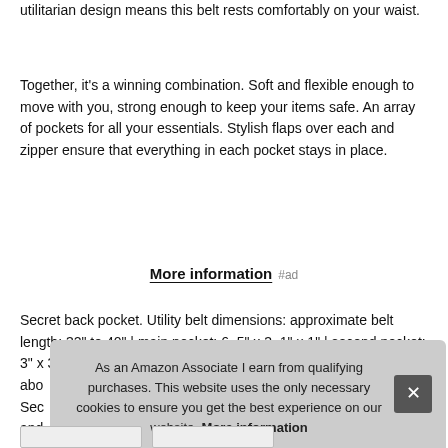utilitarian design means this belt rests comfortably on your waist.
Together, it's a winning combination. Soft and flexible enough to move with you, strong enough to keep your items safe. An array of pockets for all your essentials. Stylish flaps over each and zipper ensure that everything in each pocket stays in place.
More information #ad
Secret back pocket. Utility belt dimensions: approximate belt length: 32" to 40" | main pocket: 6. 5" x 3. 1" x 1" | second pocket: 3" x 3. 1" x 1". Hold smaller items that only you know abo... Sec... and...
As an Amazon Associate I earn from qualifying purchases. This website uses the only necessary cookies to ensure you get the best experience on our website. More information